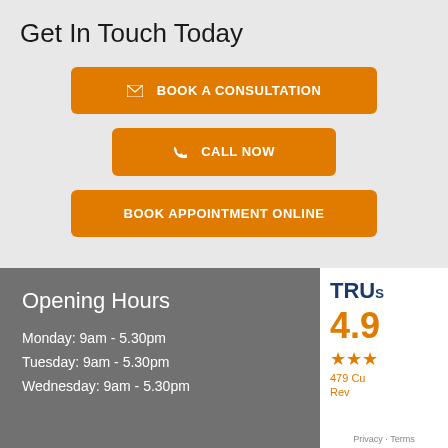Get In Touch Today
BOOK A CONSULTATION
CALL NOW
BOOK APPOINTMENT ONLINE
Opening Hours
Monday: 9am - 5.30pm
Tuesday: 9am - 5.30pm
Wednesday: 9am - 5.30pm
TRUS 4.9 ★★★ 479 Cu Reviews Privacy · Terms